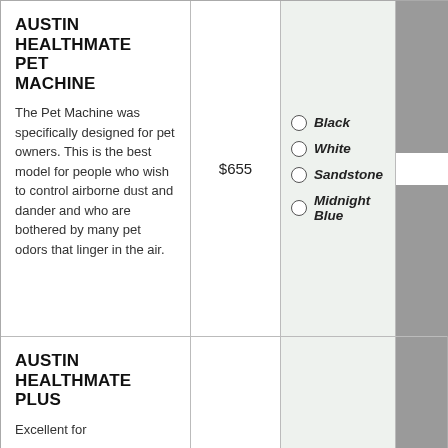AUSTIN HEALTHMATE PET MACHINE
The Pet Machine was specifically designed for pet owners. This is the best model for people who wish to control airborne dust and dander and who are bothered by many pet odors that linger in the air.
$655
Black
White
Sandstone
Midnight Blue
AUSTIN HEALTHMATE PLUS
Excellent for